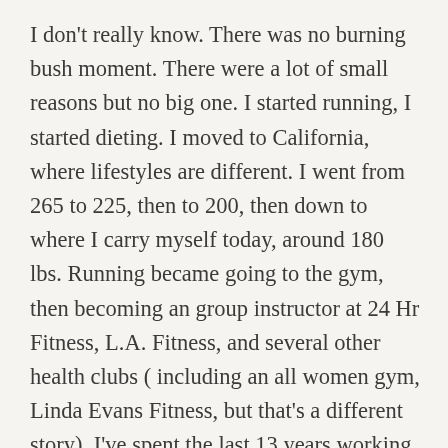I don't really know. There was no burning bush moment. There were a lot of small reasons but no big one. I started running, I started dieting. I moved to California, where lifestyles are different. I went from 265 to 225, then to 200, then down to where I carry myself today, around 180 lbs. Running became going to the gym, then becoming an group instructor at 24 Hr Fitness, L.A. Fitness, and several other health clubs ( including an all women gym, Linda Evans Fitness, but that's a different story). I've spent the last 13 years working for a supplement company, learning more about nutrition and fitness. I've fallen in love with distance running and traveled around the world for work and pleasure, running races,